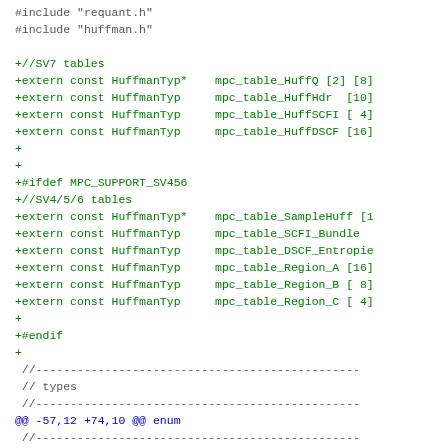#include "requant.h"
 #include "huffman.h"

 +//SV7 tables
 +extern const HuffmanTyp*    mpc_table_HuffQ [2] [8]
 +extern const HuffmanTyp     mpc_table_HuffHdr  [10]
 +extern const HuffmanTyp     mpc_table_HuffSCFI [ 4]
 +extern const HuffmanTyp     mpc_table_HuffDSCF [16]
 +
 +
 +#ifdef MPC_SUPPORT_SV456
 +//SV4/5/6 tables
 +extern const HuffmanTyp*    mpc_table_SampleHuff [1
 +extern const HuffmanTyp     mpc_table_SCFI_Bundle
 +extern const HuffmanTyp     mpc_table_DSCF_Entropie
 +extern const HuffmanTyp     mpc_table_Region_A [16]
 +extern const HuffmanTyp     mpc_table_Region_B [ 8]
 +extern const HuffmanTyp     mpc_table_Region_C [ 4]
 +
 +#endif
 +
  //-----------------------------------------------
  // types
  //-----------------------------------------------
 @@ -57,12 +74,10 @@ enum
  //-----------------------------------------------
  // forward declarations
  //-----------------------------------------------
 -void mpc_decoder_init_huffman_sv6(mpc_decoder *d);
 -void mpc_decoder_init_huffman_sv7(mpc_decoder *d);